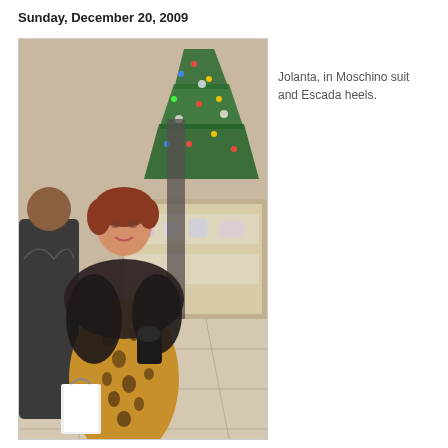Sunday, December 20, 2009
[Figure (photo): A woman (Jolanta) standing in what appears to be a department store or mall, wearing a leopard print Moschino suit and Escada heels with a dark fur stole/jacket over her shoulders and carrying a white shopping bag. A decorated Christmas tree is visible in the background.]
Jolanta, in Moschino suit and Escada heels.